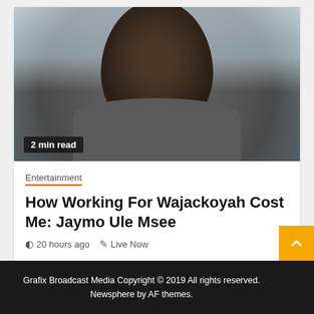[Figure (photo): Portrait photo of a man in a grey t-shirt sitting indoors near a window. Badge overlay reads '2 min read'.]
2 min read
Entertainment
How Working For Wajackoyah Cost Me: Jaymo Ule Msee
20 hours ago  Live Now
Grafix Broadcast Media Copyright © 2019 All rights reserved. Newsphere by AF themes.